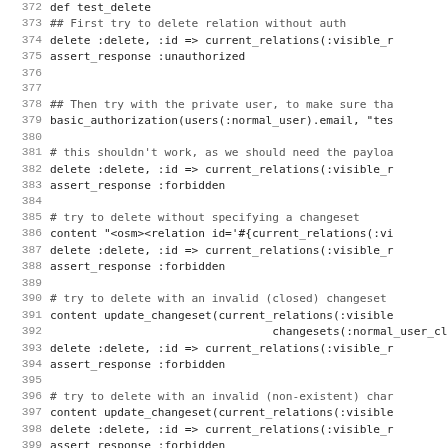[Figure (screenshot): Source code listing showing a test_delete method in Ruby, lines 372-403, with line numbers on the left and monospace code on the right. The code includes comments and method calls for testing relation deletion with various authentication and changeset scenarios.]